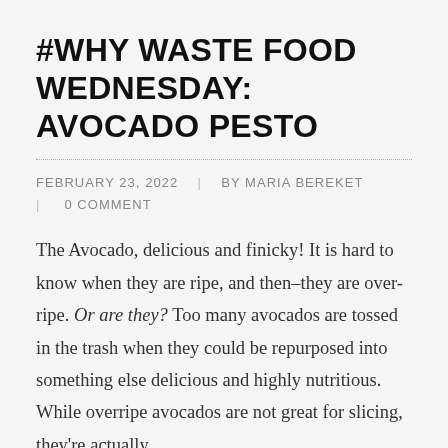#WHY WASTE FOOD WEDNESDAY: AVOCADO PESTO
FEBRUARY 23, 2022  |  BY MARIA BEREKET  |  0 COMMENT
The Avocado, delicious and finicky! It is hard to know when they are ripe, and then–they are over-ripe. Or are they? Too many avocados are tossed in the trash when they could be repurposed into something else delicious and highly nutritious. While overripe avocados are not great for slicing, they're actually